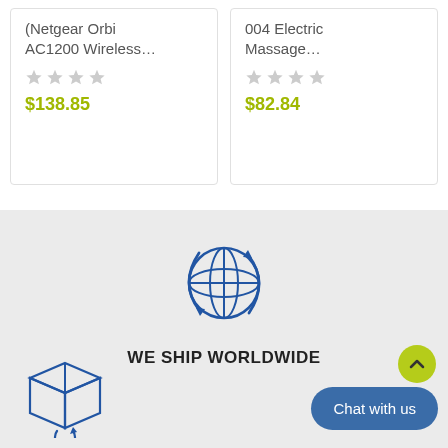(Netgear Orbi AC1200 Wireless…
$138.85
004 Electric Massage…
$82.84
[Figure (illustration): Blue line-art globe icon with circular arrows indicating worldwide shipping]
WE SHIP WORLDWIDE
[Figure (illustration): Blue line-art box/package icon with a circular return arrow]
Chat with us